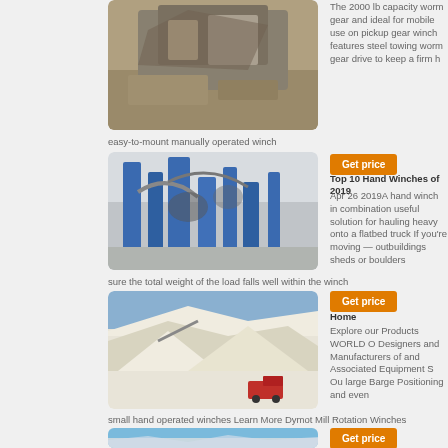[Figure (photo): Aerial or ground view of a mobile crushing/mining machine on dirt ground]
The 2000 lb capacity worm gear and ideal for mobile use on pickup gear winch features steel towing worm gear drive to keep a firm h
easy-to-mount manually operated winch
[Figure (photo): Industrial blue machinery/processing plant equipment with pipes and conveyors]
[Figure (other): Get price button (orange)]
Top 10 Hand Winches of 2019
Apr 26 2019A hand winch in combination useful solution for hauling heavy onto a flatbed truck If you're moving — outbuildings sheds or boulders
sure the total weight of the load falls well within the winch
[Figure (photo): Quarry or mining site with large white material piles and heavy machinery/trucks]
[Figure (other): Get price button (orange)]
Home
Explore our Products WORLD O Designers and Manufacturers of and Associated Equipment S Ou large Barge Positioning and even
small hand operated winches Learn More Dymot Mill Rotation Winches
[Figure (photo): Landscape/sky photo partially visible at bottom]
[Figure (other): Get price button (orange)]